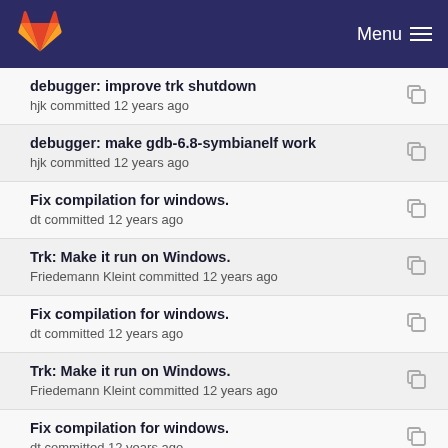GitLab Menu
debugger: improve trk shutdown
hjk committed 12 years ago
debugger: make gdb-6.8-symbianelf work
hjk committed 12 years ago
Fix compilation for windows.
dt committed 12 years ago
Trk: Make it run on Windows.
Friedemann Kleint committed 12 years ago
Fix compilation for windows.
dt committed 12 years ago
Trk: Make it run on Windows.
Friedemann Kleint committed 12 years ago
Fix compilation for windows.
dt committed 12 years ago
debugger: add some status line indication that trk ...
hjk committed 12 years ago